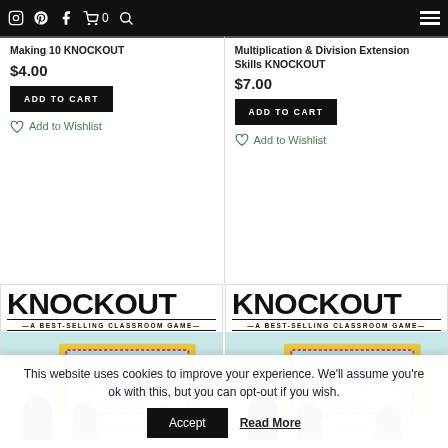Navigation bar with icons: Instagram, Pinterest, Facebook, Cart (0), Search, Hamburger menu
Making 10 KNOCKOUT
$4.00
ADD TO CART
Add to Wishlist
Multiplication & Division Extension Skills KNOCKOUT
$7.00
ADD TO CART
Add to Wishlist
[Figure (photo): KNOCKOUT - A BEST-SELLING CLASSROOM GAME - image showing students at whiteboard with math equations 9+_=12, 17+_=19]
[Figure (photo): KNOCKOUT - A BEST-SELLING CLASSROOM GAME - image showing students at whiteboard with math equations _+4=9, _+3=1__]
This website uses cookies to improve your experience. We'll assume you're ok with this, but you can opt-out if you wish.
Accept
Read More